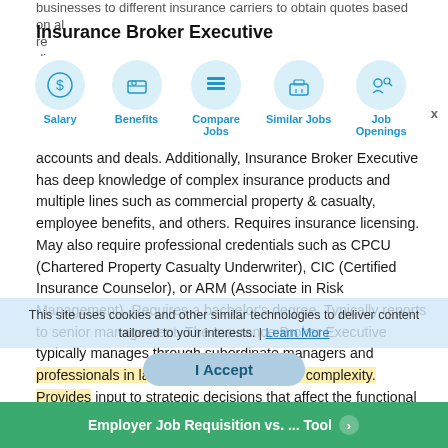Insurance Broker Executive
[Figure (infographic): Navigation icon bar with five items: Salary (dollar sign icon), Benefits (wallet icon), Compare Jobs (layers icon), Similar Jobs (briefcase icon), Job Openings (magnifier/person icon). Each icon is in a light blue circle above a blue label.]
accounts and deals. Additionally, Insurance Broker Executive has deep knowledge of complex insurance products and multiple lines such as commercial property & casualty, employee benefits, and others. Requires insurance licensing. May also require professional credentials such as CPCU (Chartered Property Casualty Underwriter), CIC (Certified Insurance Counselor), or ARM (Associate in Risk Management). Requires a bachelor's degree. Typically reports to senior management. The Insurance Broker Executive typically manages through subordinate managers and professionals in larger groups of moderate complexity. Provides input to strategic decisions that affect the functional area of responsibility. May give input into developing the budget. To be an Insurance Broker Executive typically requires 3+ years of managerial experience. Capable of resolving escalated issues arising from operations and requiring coordination with other departments.
This site uses cookies and other similar technologies to deliver content tailored to your interests. | Learn More
I Accept
Employer Job Requisition vs. ... Tool